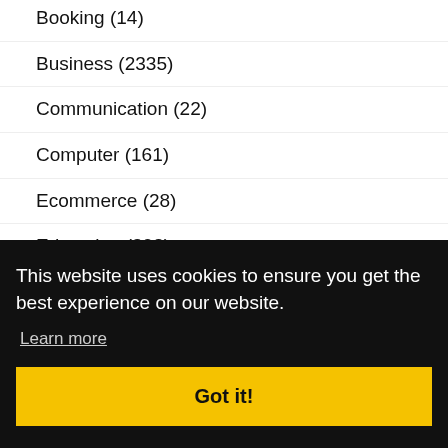Booking (14)
Business (2335)
Communication (22)
Computer (161)
Ecommerce (28)
Education (398)
Electronics (95)
This website uses cookies to ensure you get the best experience on our website.
Learn more
Got it!